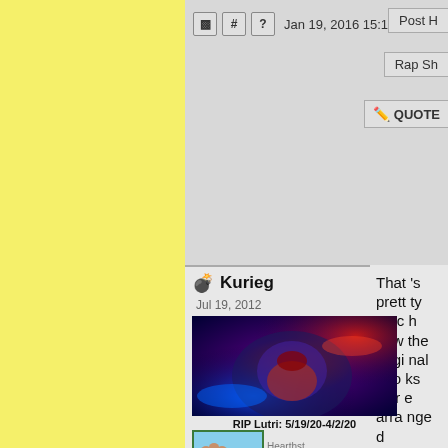[Figure (screenshot): Yellow sidebar background]
Jan 19, 2016 15:15
Post H
Rap Sh
QUOTE
Kurieg
Jul 19, 2012
[Figure (illustration): Fantasy creature (Lutri) with blue and red glowing energy, dark fur, roaring]
RIP Lutri: 5/19/20-4/2/20
[Figure (screenshot): Thumbnail image of a cat paw, Hearthstone related, Pages: 1]
That 's prett ty muc h how the origi nal boo ks wer e arra nge d